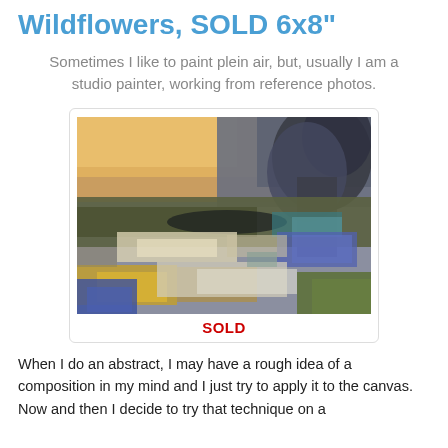Wildflowers, SOLD 6x8"
Sometimes I like to paint plein air, but, usually I am a studio painter, working from reference photos.
[Figure (photo): Oil painting of a wildflower landscape with blue and yellow flowers in the foreground, an olive-green field in the middle ground, and trees silhouetted against a warm orange and grey sky in the background. Abstract impressionist style.]
SOLD
When I do an abstract, I may have a rough idea of a composition in my mind and I just try to apply it to the canvas.  Now and then I decide to try that technique on a